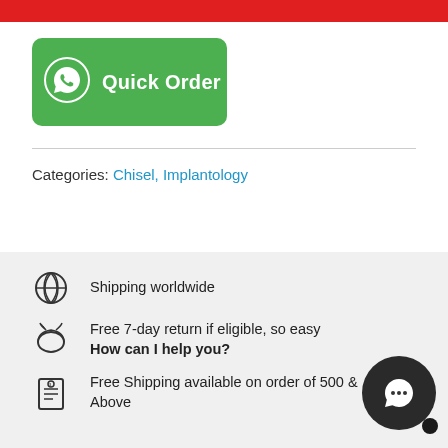[Figure (other): Red banner bar at top of page]
[Figure (other): Green Quick Order WhatsApp button]
Categories: Chisel, Implantology
Shipping worldwide
Free 7-day return if eligible, so easy
Free Shipping available on order of 500 & Above
[Figure (other): WhatsApp chat bubble with 'How can I help you?' label]